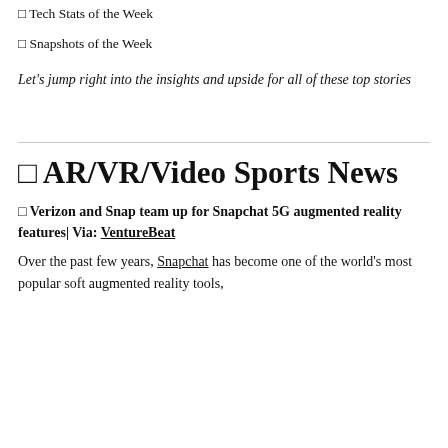□ Tech Stats of the Week
□ Snapshots of the Week
Let's jump right into the insights and upside for all of these top stories
□ AR/VR/Video Sports News
□ Verizon and Snap team up for Snapchat 5G augmented reality features| Via: VentureBeat
Over the past few years, Snapchat has become one of the world's most popular soft augmented reality tools,